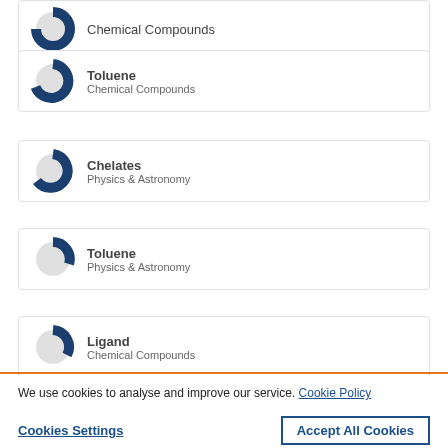Chemical Compounds (partial, top)
Toluene — Chemical Compounds
Chelates — Physics & Astronomy
Toluene — Physics & Astronomy
Ligand — Chemical Compounds
We use cookies to analyse and improve our service. Cookie Policy
Cookies Settings | Accept All Cookies